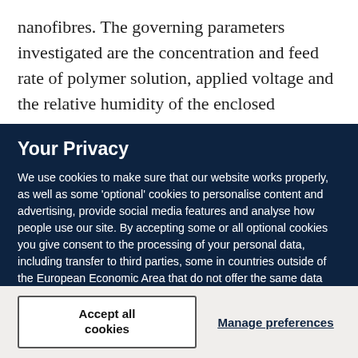nanofibres. The governing parameters investigated are the concentration and feed rate of polymer solution, applied voltage and the relative humidity of the enclosed
Your Privacy
We use cookies to make sure that our website works properly, as well as some 'optional' cookies to personalise content and advertising, provide social media features and analyse how people use our site. By accepting some or all optional cookies you give consent to the processing of your personal data, including transfer to third parties, some in countries outside of the European Economic Area that do not offer the same data protection standards as the country where you live. You can decide which optional cookies to accept by clicking on 'Manage Settings', where you can also find more information about how your personal data is processed. Further information can be found in our privacy policy.
Accept all cookies
Manage preferences